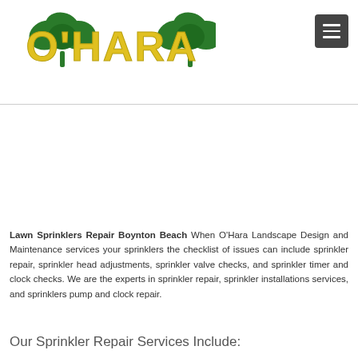[Figure (logo): O'Hara Landscape Design logo with green shamrocks and yellow text on white background]
Lawn Sprinklers Repair Boynton Beach When O'Hara Landscape Design and Maintenance services your sprinklers the checklist of issues can include sprinkler repair, sprinkler head adjustments, sprinkler valve checks, and sprinkler timer and clock checks. We are the experts in sprinkler repair, sprinkler installations services, and sprinklers pump and clock repair.
Our Sprinkler Repair Services Include: